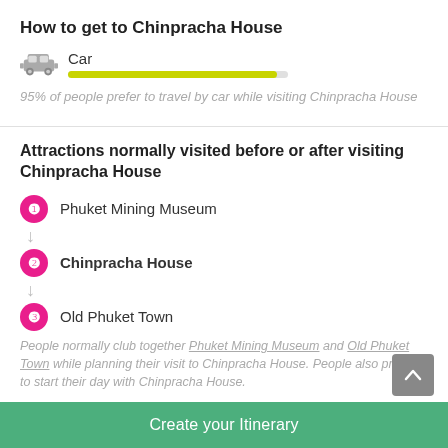How to get to Chinpracha House
Car
95% of people prefer to travel by car while visiting Chinpracha House
Attractions normally visited before or after visiting Chinpracha House
1 Phuket Mining Museum
2 Chinpracha House
3 Old Phuket Town
People normally club together Phuket Mining Museum and Old Phuket Town while planning their visit to Chinpracha House. People also prefer to start their day with Chinpracha House.
Create your Itinerary